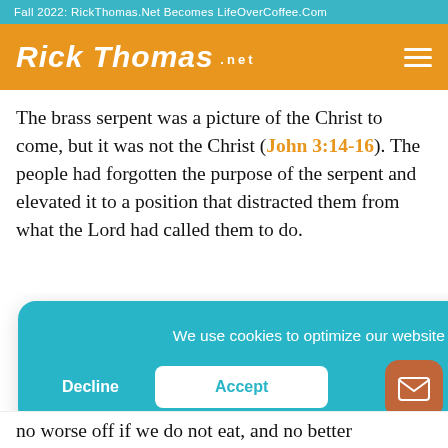Fall 2022: RickThomas.Net Becomes LifeOverCoffee.Com
[Figure (logo): Rick Thomas .net logo in white script on orange header background with hamburger menu icon]
The brass serpent was a picture of the Christ to come, but it was not the Christ (John 3:14-16). The people had forgotten the purpose of the serpent and elevated it to a position that distracted them from what the Lord had called them to do.
We use cookies to optimize our website and our service. View our Privacy Policy
Decline
Accept
no worse off if we do not eat, and no better